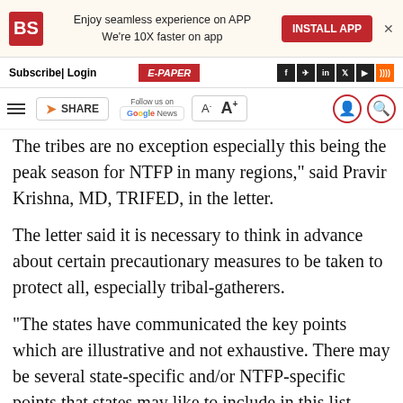BS logo | Enjoy seamless experience on APP We're 10X faster on app | INSTALL APP | x
Subscribe| Login | E-PAPER | f telegram in twitter youtube rss
Menu | SHARE | Follow us on Google News | A- A+ | user icon | search icon
The tribes are no exception especially this being the peak season for NTFP in many regions," said Pravir Krishna, MD, TRIFED, in the letter.
The letter said it is necessary to think in advance about certain precautionary measures to be taken to protect all, especially tribal-gatherers.
"The states have communicated the key points which are illustrative and not exhaustive. There may be several state-specific and/or NTFP-specific points that states may like to include in this list. TRIFED requests the states and all state level nodal agencies to ensure that these points reach the persons at the cutting edge (tribal